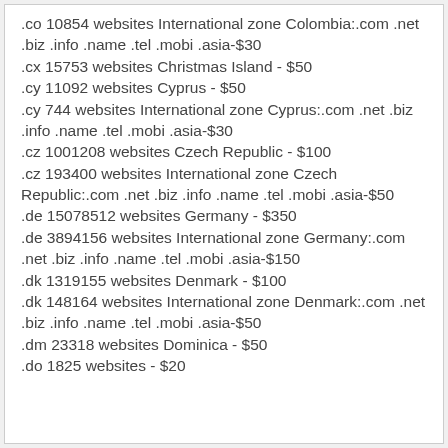.co 10854 websites International zone Colombia:.com .net .biz .info .name .tel .mobi .asia-$30
.cx 15753 websites Christmas Island - $50
.cy 11092 websites Cyprus - $50
.cy 744 websites International zone Cyprus:.com .net .biz .info .name .tel .mobi .asia-$30
.cz 1001208 websites Czech Republic - $100
.cz 193400 websites International zone Czech Republic:.com .net .biz .info .name .tel .mobi .asia-$50
.de 15078512 websites Germany - $350
.de 3894156 websites International zone Germany:.com .net .biz .info .name .tel .mobi .asia-$150
.dk 1319155 websites Denmark - $100
.dk 148164 websites International zone Denmark:.com .net .biz .info .name .tel .mobi .asia-$50
.dm 23318 websites Dominica - $50
.do 1825 websites - $20